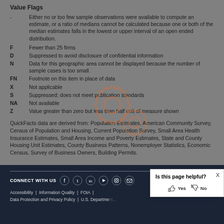Value Flags
- Either no or too few sample observations were available to compute an estimate, or a ratio of medians cannot be calculated because one or both of the median estimates falls in the lowest or upper interval of an open ended distribution.
F  Fewer than 25 firms
D  Suppressed to avoid disclosure of confidential information
N  Data for this geographic area cannot be displayed because the number of sample cases is too small.
FN  Footnote on this item in place of data
X  Not applicable
S  Suppressed; does not meet publication standards
NA  Not available
Z  Value greater than zero but less than half unit of measure shown
QuickFacts data are derived from: Population Estimates, American Community Survey, Census of Population and Housing, Current Population Survey, Small Area Health Insurance Estimates, Small Area Income and Poverty Estimates, State and County Housing Unit Estimates, County Business Patterns, Nonemployer Statistics, Economic Census, Survey of Business Owners, Building Permits.
[Figure (illustration): Two orange gear/cog icons overlapping, displayed as a semi-transparent overlay on the page content]
CONNECT WITH US  [social icons: Facebook, Twitter, LinkedIn, YouTube, Instagram, Email]  Accessibility | Information Quality | FOIA | Data Protection and Privacy Policy | U.S. Department...